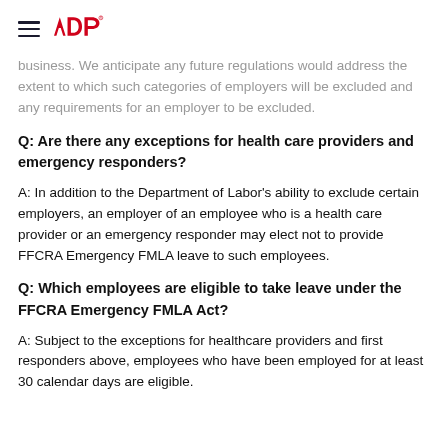ADP (logo with hamburger menu)
business. We anticipate any future regulations would address the extent to which such categories of employers will be excluded and any requirements for an employer to be excluded.
Q: Are there any exceptions for health care providers and emergency responders?
A: In addition to the Department of Labor's ability to exclude certain employers, an employer of an employee who is a health care provider or an emergency responder may elect not to provide FFCRA Emergency FMLA leave to such employees.
Q: Which employees are eligible to take leave under the FFCRA Emergency FMLA Act?
A: Subject to the exceptions for healthcare providers and first responders above, employees who have been employed for at least 30 calendar days are eligible.